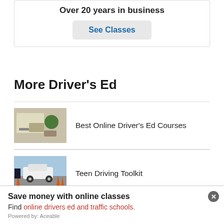Over 20 years in business
See Classes
More Driver's Ed
Best Online Driver's Ed Courses
Teen Driving Toolkit
Save money with online classes
Find online drivers ed and traffic schools.
Powered by: Aceable